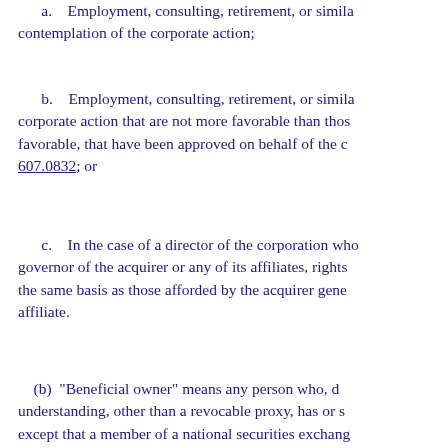a.    Employment, consulting, retirement, or similar arrangements made in contemplation of the corporate action;
b.    Employment, consulting, retirement, or similar arrangements as part of the corporate action that are not more favorable than those existing or, if more favorable, that have been approved on behalf of the c... 607.0832; or
c.    In the case of a director of the corporation who becomes a director, officer, or governor of the acquirer or any of its affiliates, rights as a director, officer, or governor on the same basis as those afforded by the acquirer generally to directors of such an affiliate.
(b)  "Beneficial owner" means any person who, directly or indirectly, through any contract, arrangement, understanding, other than a revocable proxy, has or shares the power to vote... except that a member of a national securities exchange is not deemed to be a beneficial owner of securities held directly or indirectly by it on behalf of another person solely because such member is the beneficiary of discretionary authority from voting without instruction on contested matters or matters that may affect substantially the rights or privileges of the holders of the securities to be voted. When two or more persons act as a partnership, limited partnership, syndicate, or other group for the purpose of voting their shares of the corporation, each such person shall be deemed to have acquired beneficial ownership, as of the date of the agreement, of all shares of voting stock of the corporation beneficially owned by any member of the group.
(c)  "Excluded shares" means shares acquired pursuant to a tender offer or exchange offer was made within 1 year before the corporate act... to or less than that paid in connection with the corpor...
(7)   "Preferred shares" means any person who...